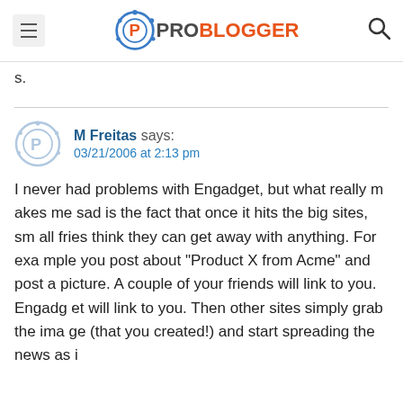ProBlogger
s.
M Freitas says:
03/21/2006 at 2:13 pm

I never had problems with Engadget, but what really makes me sad is the fact that once it hits the big sites, small fries think they can get away with anything. For example you post about “Product X from Acme” and post a picture. A couple of your friends will link to you. Engadget will link to you. Then other sites simply grab the image (that you created!) and start spreading the news as i